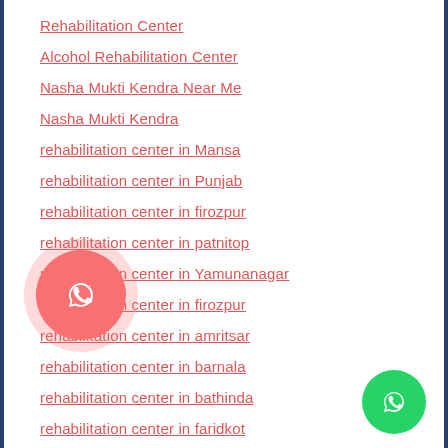Rehabilitation Center
Alcohol Rehabilitation Center
Nasha Mukti Kendra Near Me
Nasha Mukti Kendra
rehabilitation center in Mansa
rehabilitation center in Punjab
rehabilitation center in firozpur
rehabilitation center in patnitop
rehabilitation center in Yamunanagar
rehabilitation center in firozpur
rehabilitation center in amritsar
rehabilitation center in barnala
rehabilitation center in bathinda
rehabilitation center in faridkot
rehabilitation center in fatehgarh sahib